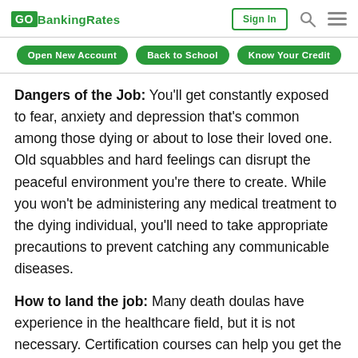GOBankingRates | Sign In
Open New Account | Back to School | Know Your Credit
Dangers of the Job: You'll get constantly exposed to fear, anxiety and depression that's common among those dying or about to lose their loved one. Old squabbles and hard feelings can disrupt the peaceful environment you're there to create. While you won't be administering any medical treatment to the dying individual, you'll need to take appropriate precautions to prevent catching any communicable diseases.
How to land the job: Many death doulas have experience in the healthcare field, but it is not necessary. Certification courses can help you get the